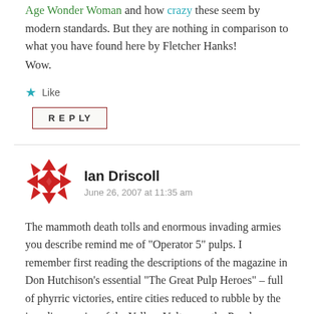Age Wonder Woman and how crazy these seem by modern standards. But they are nothing in comparison to what you have found here by Fletcher Hanks!
Wow.
Like
REPLY
Ian Driscoll
June 26, 2007 at 11:35 am
The mammoth death tolls and enormous invading armies you describe remind me of "Operator 5" pulps. I remember first reading the descriptions of the magazine in Don Hutchison's essential "The Great Pulp Heroes" – full of phyrric victories, entire cities reduced to rubble by the invading armies of the Yellow Vulture or the Purple Empire,